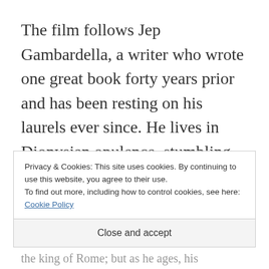The film follows Jep Gambardella, a writer who wrote one great book forty years prior and has been resting on his laurels ever since. He lives in Dionysian opulence, stumbling from party to party dancing with beautiful people and rocking one superb suit after another. He arches his eyebrows at all the absurdity around him, at times even
Privacy & Cookies: This site uses cookies. By continuing to use this website, you agree to their use.
To find out more, including how to control cookies, see here: Cookie Policy
Close and accept
the king of Rome; but as he ages, his